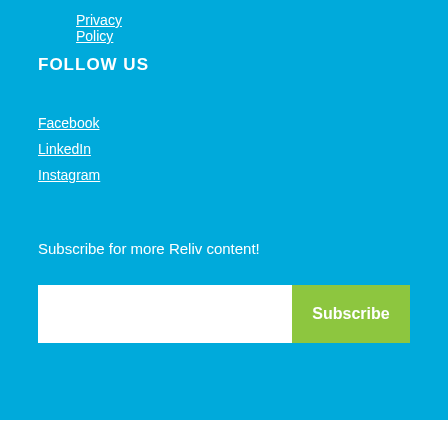Privacy Policy
FOLLOW US
Facebook
LinkedIn
Instagram
Subscribe for more Reliv content!
Subscribe